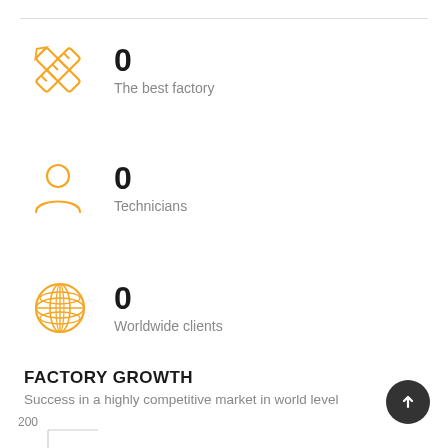[Figure (illustration): Orange crossed tools icon (ruler and pencil crossed)]
0
The best factory
[Figure (illustration): Orange person silhouette icon]
0
Technicians
[Figure (illustration): Orange globe/world icon]
0
Worldwide clients
FACTORY GROWTH
Success in a highly competitive market in world level
[Figure (other): Partial bar chart showing y-axis label 200]